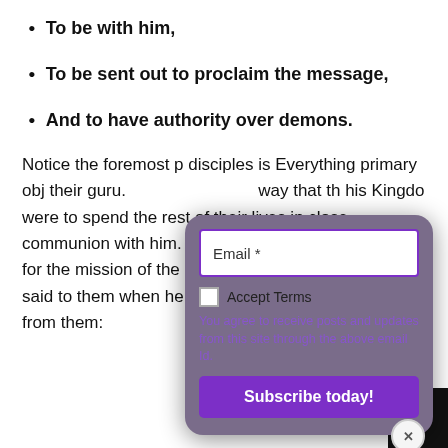To be with him,
To be sent out to proclaim the message,
And to have authority over demons.
Notice the foremost p disciples is Everything primary ob their guru. way that th his Kingdo were to spend the rest of their lives in close communion with him. It was so critical for Jesus and for the mission of the disciples, that Jesus repeatedly said to them when he was about to physically depart from them:
[Figure (screenshot): Email subscription modal popup with Email field, Accept Terms checkbox, agreement text, and Subscribe today! button, on a dark purple/gray rounded background with close button]